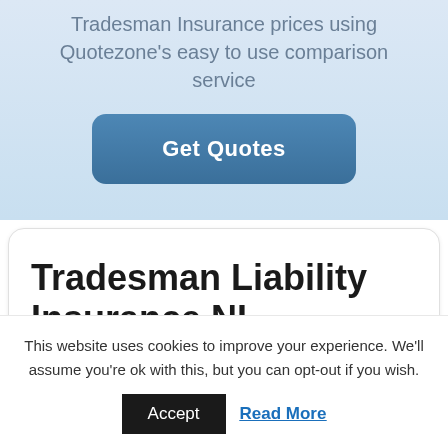Tradesman Insurance prices using Quotezone's easy to use comparison service
[Figure (other): Get Quotes button - a rounded blue button with white bold text reading 'Get Quotes']
Tradesman Liability Insurance NI
This website uses cookies to improve your experience. We'll assume you're ok with this, but you can opt-out if you wish.
Accept   Read More